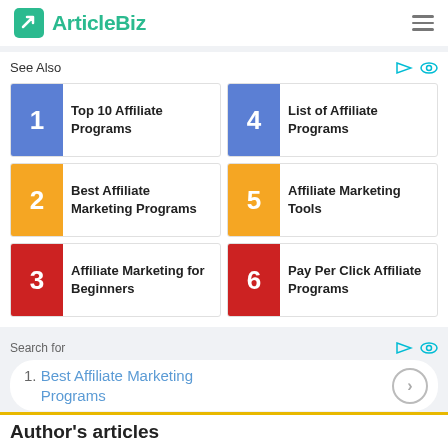ArticleBiz
See Also
1 Top 10 Affiliate Programs
2 Best Affiliate Marketing Programs
3 Affiliate Marketing for Beginners
4 List of Affiliate Programs
5 Affiliate Marketing Tools
6 Pay Per Click Affiliate Programs
Search for
1. Best Affiliate Marketing Programs
Author's articles